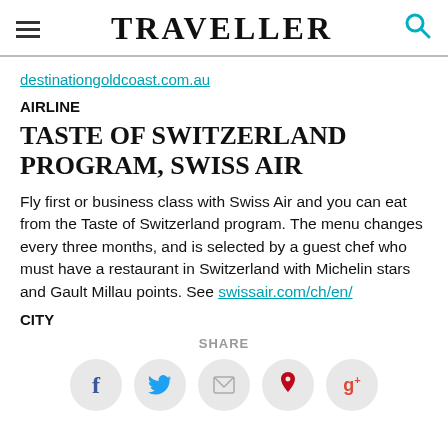TRAVELLER
destinationgoldcoast.com.au
AIRLINE
TASTE OF SWITZERLAND PROGRAM, SWISS AIR
Fly first or business class with Swiss Air and you can eat from the Taste of Switzerland program. The menu changes every three months, and is selected by a guest chef who must have a restaurant in Switzerland with Michelin stars and Gault Millau points. See swissair.com/ch/en/
CITY
SHARE